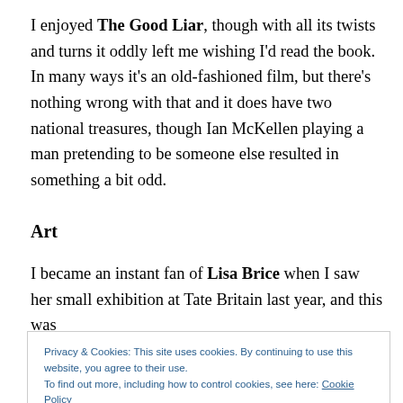I enjoyed The Good Liar, though with all its twists and turns it oddly left me wishing I'd read the book. In many ways it's an old-fashioned film, but there's nothing wrong with that and it does have two national treasures, though Ian McKellen playing a man pretending to be someone else resulted in something a bit odd.
Art
I became an instant fan of Lisa Brice when I saw her small exhibition at Tate Britain last year, and this was
Privacy & Cookies: This site uses cookies. By continuing to use this website, you agree to their use.
To find out more, including how to control cookies, see here: Cookie Policy
was clearly technically accomplished, but I found a lot of it